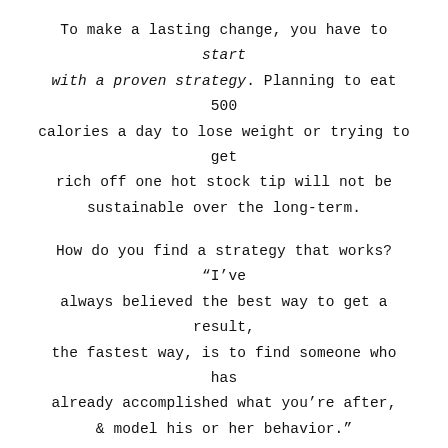To make a lasting change, you have to start with a proven strategy. Planning to eat 500 calories a day to lose weight or trying to get rich off one hot stock tip will not be sustainable over the long-term.
How do you find a strategy that works? “I’ve always believed the best way to get a result, the fastest way, is to find someone who has already accomplished what you’re after, & model his or her behavior.”
2. UNDERSTAND THE POWER OF YOUR STORY.
Even if you have the right strategy, you won’t